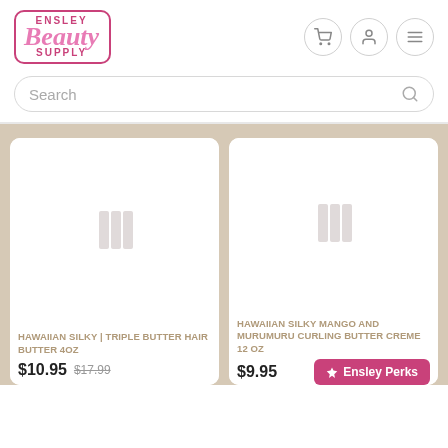[Figure (logo): Ensley Beauty Supply logo — pink cursive 'Beauty' with 'ENSLEY' above and 'SUPPLY' below in pink block letters, inside a rounded pink border]
[Figure (infographic): Three navigation icon buttons: shopping cart, user/person, and hamburger menu — each in a circular grey-bordered button]
Search
[Figure (photo): Product card for Hawaiian Silky Triple Butter Hair Butter 4oz — white card with placeholder product image area]
HAWAIIAN SILKY | TRIPLE BUTTER HAIR BUTTER 4OZ
$10.95  $17.99
[Figure (photo): Product card for Hawaiian Silky Mango and Murumuru Curling Butter Creme 12oz — white card with placeholder product image area]
HAWAIIAN SILKY MANGO AND MURUMURU CURLING BUTTER CREME 12 OZ
$9.95
Ensley Perks